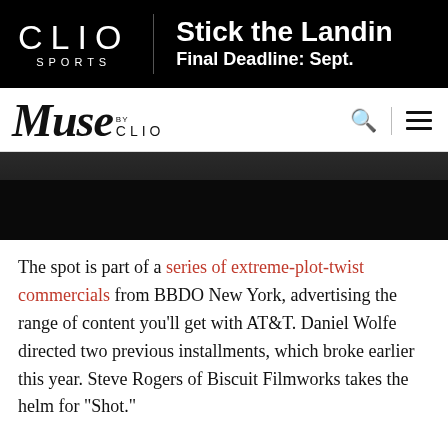CLIO SPORTS | Stick the Landing Final Deadline: Sept.
Muse by CLIO
[Figure (photo): Dark cinematic still from a commercial shoot, showing figures in a dimly lit scene]
The spot is part of a series of extreme-plot-twist commercials from BBDO New York, advertising the range of content you'll get with AT&T. Daniel Wolfe directed two previous installments, which broke earlier this year. Steve Rogers of Biscuit Filmworks takes the helm for "Shot."